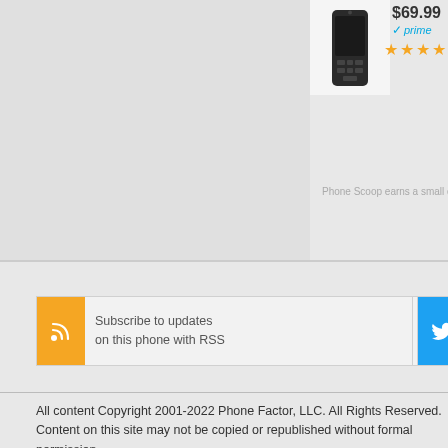[Figure (photo): Black mobile phone product image]
$69.99
[Figure (other): Amazon Prime logo with checkmark]
[Figure (other): Star rating: 3.5 out of 5 stars]
Phone Scoop earns a small commission from affiliate links to Am...
Subscribe to updates on this phone with RSS
Follow @phonescoop on Twitter
Phone Faceb...
All content Copyright 2001-2022 Phone Factor, LLC. All Rights Reserved. Content on this site may not be copied or republished without formal permission.